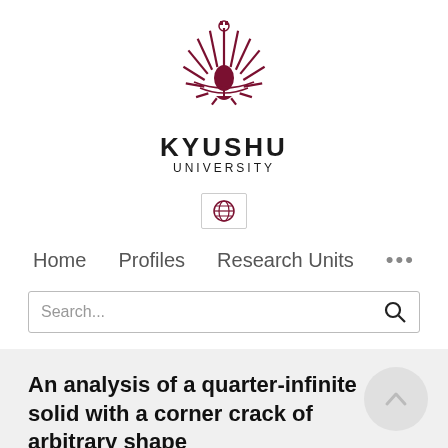[Figure (logo): Kyushu University logo — a circular emblem with sunburst/feather rays in dark red/maroon, with text KYUSHU UNIVERSITY below]
[Figure (screenshot): Kyushu University research portal navigation interface with globe icon, nav links (Home, Profiles, Research Units, ...) and a search bar]
An analysis of a quarter-infinite solid with a corner crack of arbitrary shape
Hiroshi Noguchi, Taketo..., Yoshiko Rydeide, A. Ow ith...